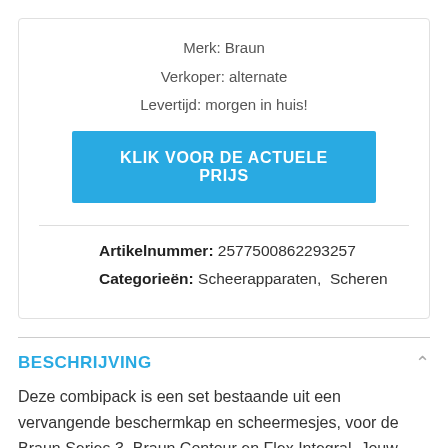Merk: Braun
Verkoper: alternate
Levertijd: morgen in huis!
KLIK VOOR DE ACTUELE PRIJS
Artikelnummer: 2577500862293257
Categorieën: Scheerapparaten,  Scheren
BESCHRIJVING
Deze combipack is een set bestaande uit een vervangende beschermkap en scheermesjes, voor de Braun Series 3, Braun Contour en Flex Integral. Jouw Braun scheerapparaat zal binnen 18 maanden een gemiddelde